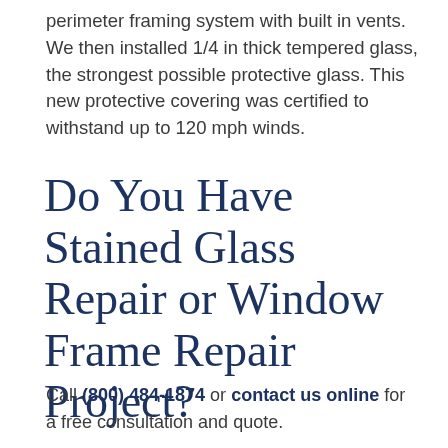perimeter framing system with built in vents. We then installed 1/4 in thick tempered glass, the strongest possible protective glass. This new protective covering was certified to withstand up to 120 mph winds.
Do You Have Stained Glass Repair or Window Frame Repair Project?
Call (800) 484-1874 or contact us online for a free consultation and quote.